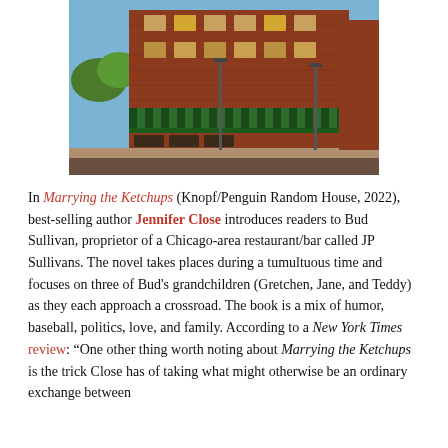[Figure (photo): Exterior photo of a multi-story brick building with green striped awnings and outdoor seating along a Chicago street, likely a restaurant/bar.]
In Marrying the Ketchups (Knopf/Penguin Random House, 2022), best-selling author Jennifer Close introduces readers to Bud Sullivan, proprietor of a Chicago-area restaurant/bar called JP Sullivans. The novel takes places during a tumultuous time and focuses on three of Bud's grandchildren (Gretchen, Jane, and Teddy) as they each approach a crossroad. The book is a mix of humor, baseball, politics, love, and family. According to a New York Times review: “One other thing worth noting about Marrying the Ketchups is the trick Close has of taking what might otherwise be an ordinary exchange between...